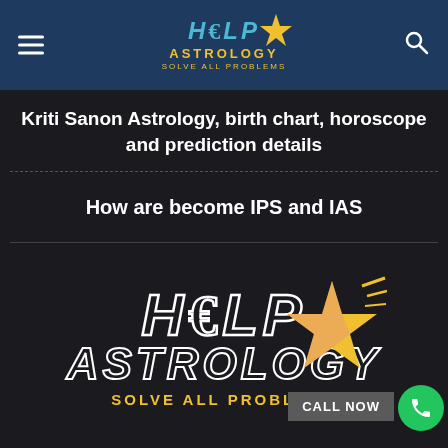Help Astrology - Solve All Problems
Kriti Sanon Astrology, birth chart, horoscope and prediction details
How are become IPS and IAS
[Figure (logo): Help Astrology logo with star, yellow text ASTROLOGY, SOLVE ALL PROBLEMS tagline, and CALL NOW button with green phone icon]